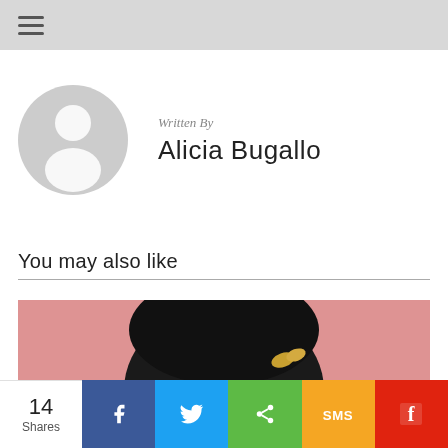Navigation menu
Written By
Alicia Bugallo
You may also like
[Figure (photo): Partial view of a person with natural afro hair and a gold butterfly hair clip against a pink background, with teal painted fingernails visible]
14 Shares  Facebook  Twitter  Share  SMS  Flipboard